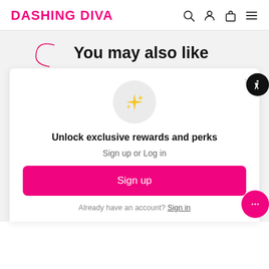DASHING DIVA
You may also like
[Figure (illustration): Modal popup with sparkle icon, sign-up prompt, and sign-up button]
Unlock exclusive rewards and perks
Sign up or Log in
Sign up
Already have an account? Sign in